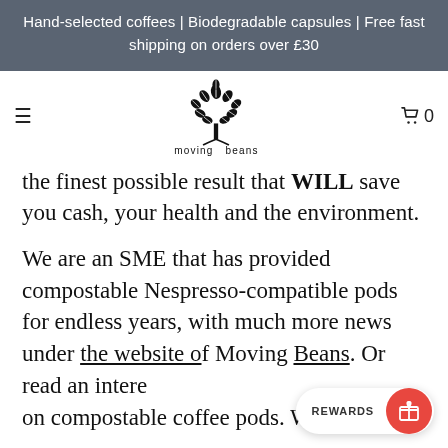Hand-selected coffees | Biodegradable capsules | Free fast shipping on orders over £30
[Figure (logo): Moving Beans logo — a stylized tree made of coffee beans with the text 'moving beans' below]
the finest possible result that WILL save you cash, your health and the environment.
We are an SME that has provided compostable Nespresso-compatible pods for endless years, with much more news under the website of Moving Beans. Or read an intere[sting article] on compostable coffee pods. We were